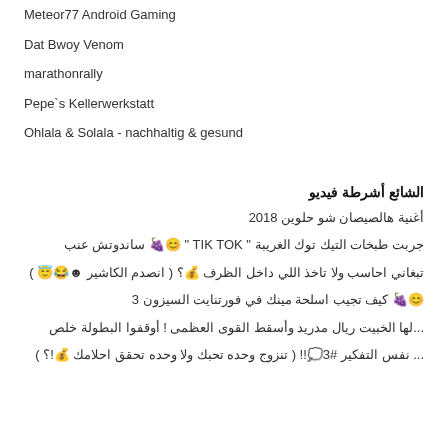Meteor77 Android Gaming
Dat Bwoy Venom
marathonrally
Pepe`s Kellerwerkstatt
Ohlala & Solala - nachhaltig & gesund
الشائع أشرطة فيديو
أغنية هالصيصان شو حلوين 2018
جربت طبخات التيك توك الغريبة " TIK TOK " 😊🍇 ساندوتش عنب
تبغاني احاسب ولا تاخذ اللي داخل الظرف 💰؟ ( انصدم الكاشير ☻️😂😇 )
😊🍇 كيف تجيب اسلحة مينك في فورتنايت السيزون 3
...لها الخبيت ريال مدريد وأسقط القوى العظمى ! أوقفوا البطولة خلص
... نفس التفكير #3💭!! ( تنزوج وحده تحبك ولا وحده تحقق احلامك 💰!؟ )